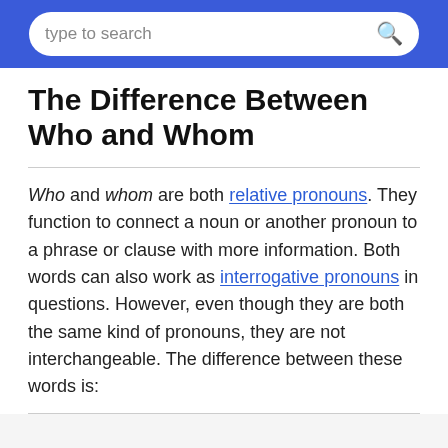type to search
The Difference Between Who and Whom
Who and whom are both relative pronouns. They function to connect a noun or another pronoun to a phrase or clause with more information. Both words can also work as interrogative pronouns in questions. However, even though they are both the same kind of pronouns, they are not interchangeable. The difference between these words is: